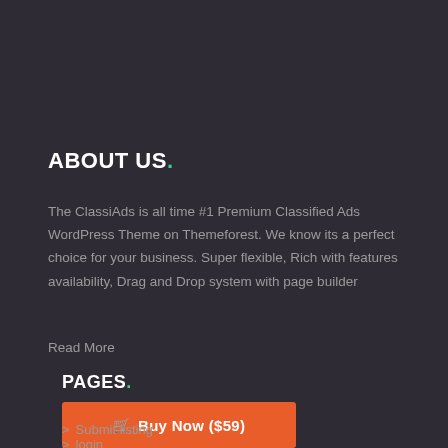ABOUT US.
The ClassiAds is all time #1 Premium Classified Ads WordPress Theme on Themeforest. We know its a perfect choice for your business. Super flexible, Rich with features availability, Drag and Drop system with page builder
Read More
PAGES.
Buy Now ($59)
> Submit listing
> login